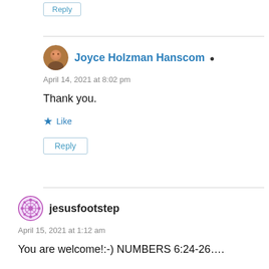Reply
Joyce Holzman Hanscom
April 14, 2021 at 8:02 pm
Thank you.
Like
Reply
jesusfootstep
April 15, 2021 at 1:12 am
You are welcome!:-) NUMBERS 6:24-26….